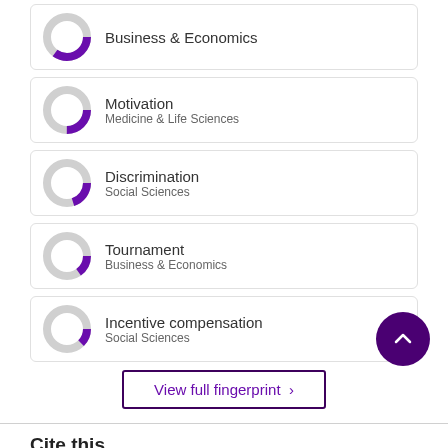Business & Economics
Motivation
Medicine & Life Sciences
Discrimination
Social Sciences
Tournament
Business & Economics
Incentive compensation
Social Sciences
View full fingerprint ›
Cite this